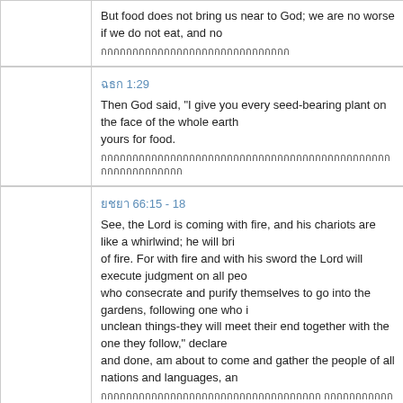But food does not bring us near to God; we are no worse if we do not eat, and no [better if we do].
[foreign script text]
ฉธก 1:29
Then God said, "I give you every seed-bearing plant on the face of the whole earth… yours for food.
[foreign script text]
ยชยา 66:15 - 18
See, the Lord is coming with fire, and his chariots are like a whirlwind; he will bring… of fire. For with fire and with his sword the Lord will execute judgment on all peo… who consecrate and purify themselves to go into the gardens, following one who i… unclean things-they will meet their end together with the one they follow," declare… and done, am about to come and gather the people of all nations and languages, an…
[foreign script text]
ยอหน 6:35
Then Jesus declared, "I am the bread of life. Whoever comes to me will never go h…
[foreign script text]
โครนธ 6:13
You say, "Food for the stomach and the stomach for food, and God will destroy th… immorality but for the Lord, and the Lord for the body.
[foreign script text]